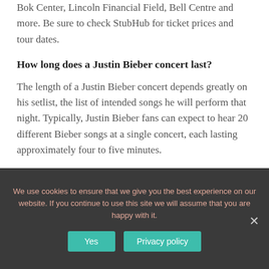Bok Center, Lincoln Financial Field, Bell Centre and more. Be sure to check StubHub for ticket prices and tour dates.
How long does a Justin Bieber concert last?
The length of a Justin Bieber concert depends greatly on his setlist, the list of intended songs he will perform that night. Typically, Justin Bieber fans can expect to hear 20 different Bieber songs at a single concert, each lasting approximately four to five minutes.
We use cookies to ensure that we give you the best experience on our website. If you continue to use this site we will assume that you are happy with it.